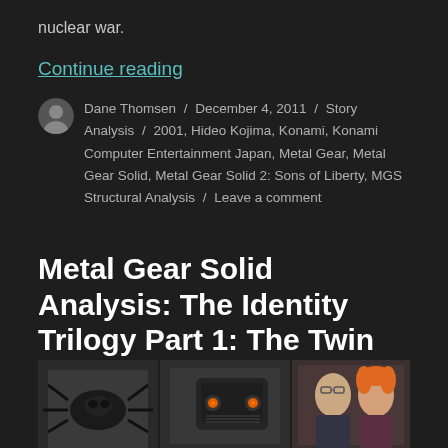nuclear war.
Continue reading
Dane Thomsen / December 4, 2011 / Story Analysis / 2001, Hideo Kojima, Konami, Konami Computer Entertainment Japan, Metal Gear, Metal Gear Solid, Metal Gear Solid 2: Sons of Liberty, MGS Structural Analysis / Leave a comment
Metal Gear Solid Analysis: The Identity Trilogy Part 1: The Twin Snakes
[Figure (photo): Composite image showing three panels: a dark robotic/mechanical figure on the left, a mechanical robot with orange eyes in the center, and two people (one with orange/red hair) on the right.]